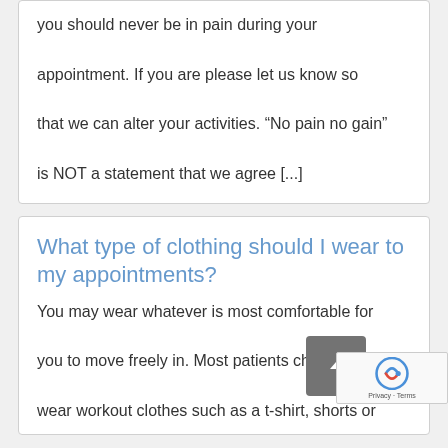you should never be in pain during your appointment. If you are please let us know so that we can alter your activities. “No pain no gain” is NOT a statement that we agree [...]
What type of clothing should I wear to my appointments?
You may wear whatever is most comfortable for you to move freely in. Most patients chose to wear workout clothes such as a t-shirt, shorts or